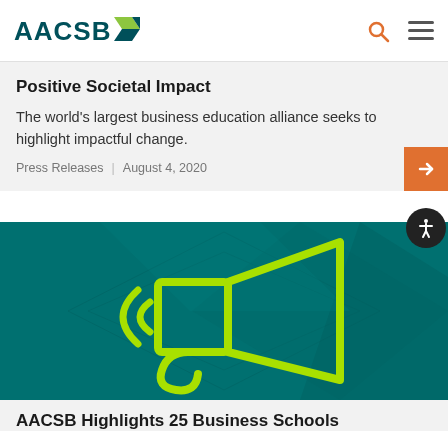AACSB
Positive Societal Impact
The world's largest business education alliance seeks to highlight impactful change.
Press Releases | August 4, 2020
[Figure (illustration): Teal/green background with a lime-green megaphone/bullhorn icon outline illustration centered on a geometric teal diamond pattern background.]
AACSB Highlights 25 Business Schools